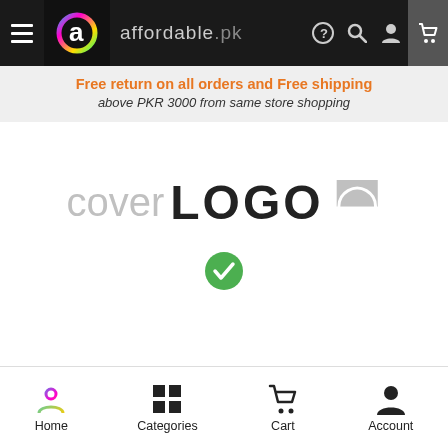affordable.pk navigation bar
Free return on all orders and Free shipping
above PKR 3000 from same store shopping
[Figure (logo): Cover logo placeholder showing 'cover LOGO' text with a green checkmark below]
Home  Categories  Cart  Account